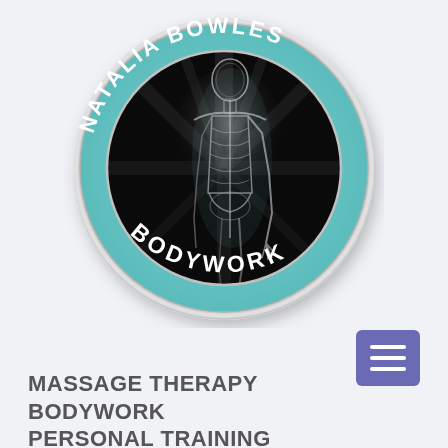[Figure (logo): Circular logo for Natalia Bowles Bodywork. Outer ring is teal/mint colored with text 'NATALIA BOWLES' arching along the top and 'BODYWORK' along the bottom in white letters. Inner circle shows an X-ray/anatomical illustration of a human figure with visible skeletal structure on a dark background with radiating light beams. The outer edge of the circle has a silver/grey metallic ring.]
[Figure (screenshot): Purple/indigo square hamburger menu button with three horizontal white bars]
MASSAGE THERAPY
BODYWORK
PERSONAL TRAINING